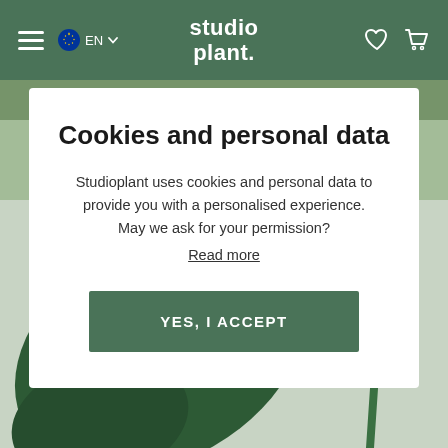studio plant. EN
[Figure (photo): Close-up photo of green tropical plant leaves (monstera or similar) on a light grey background, partially obscured by a cookie consent modal overlay]
Cookies and personal data
Studioplant uses cookies and personal data to provide you with a personalised experience. May we ask for your permission?
Read more
YES, I ACCEPT